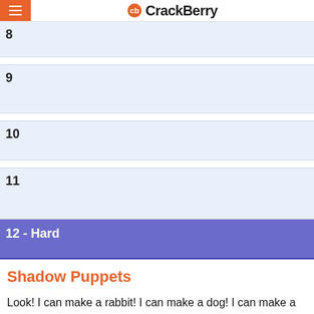CrackBerry
8
9
10
11
12 - Hard
Shadow Puppets
Look! I can make a rabbit! I can make a dog! I can make a Bell 8798! If you have any comments or